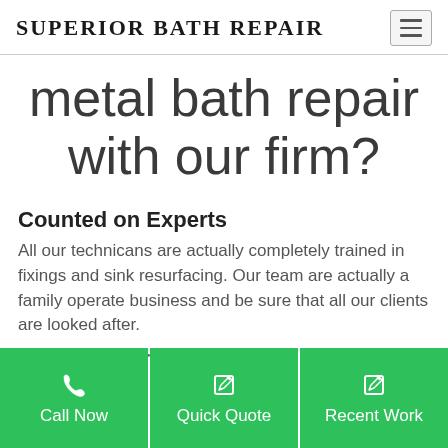SUPERIOR BATH REPAIR
metal bath repair with our firm?
Counted on Experts
All our technicans are actually completely trained in fixings and sink resurfacing. Our team are actually a family operate business and be sure that all our clients are looked after.
Trusted & Credible
[Figure (other): Green navigation bar with three buttons: Call Now (phone icon), Quick Quote (edit icon), Recent Work (edit icon)]